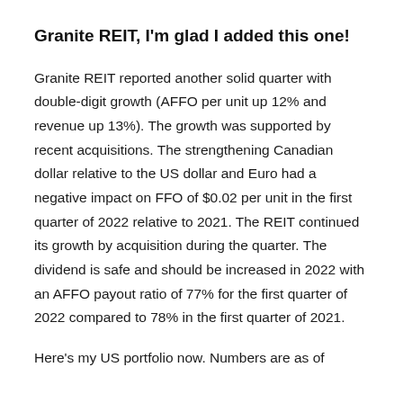Granite REIT, I'm glad I added this one!
Granite REIT reported another solid quarter with double-digit growth (AFFO per unit up 12% and revenue up 13%). The growth was supported by recent acquisitions. The strengthening Canadian dollar relative to the US dollar and Euro had a negative impact on FFO of $0.02 per unit in the first quarter of 2022 relative to 2021. The REIT continued its growth by acquisition during the quarter. The dividend is safe and should be increased in 2022 with an AFFO payout ratio of 77% for the first quarter of 2022 compared to 78% in the first quarter of 2021.
Here's my US portfolio now. Numbers are as of